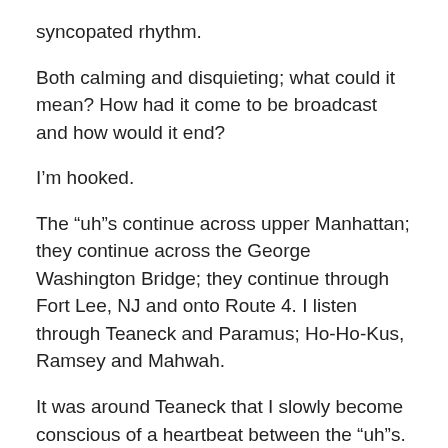syncopated rhythm.
Both calming and disquieting; what could it mean? How had it come to be broadcast and how would it end?
I’m hooked.
The “uh”s continue across upper Manhattan; they continue across the George Washington Bridge; they continue through Fort Lee, NJ and onto Route 4. I listen through Teaneck and Paramus; Ho-Ho-Kus, Ramsey and Mahwah.
It was around Teaneck that I slowly become conscious of a heartbeat between the “uh”s. Had it been there the whole time and I’d simply missed it from road noise or was this an entirely new element?
An “uh” following every heartbeat.